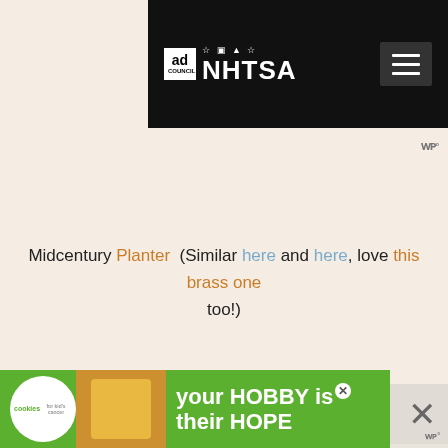Ad Council + NHTSA navigation header with hamburger menu
Midcentury Planter (Similar here and here, love this brass one too!)
[Figure (photo): Interior kitchen photo showing a woman with dark bangs looking up at hanging Edison-style globe bulbs with brass fittings, green plant on a wooden shelf in background]
[Figure (screenshot): Green advertisement banner for Cookies for Kid's Cancer charity: 'your HOBBY is their HOPE']